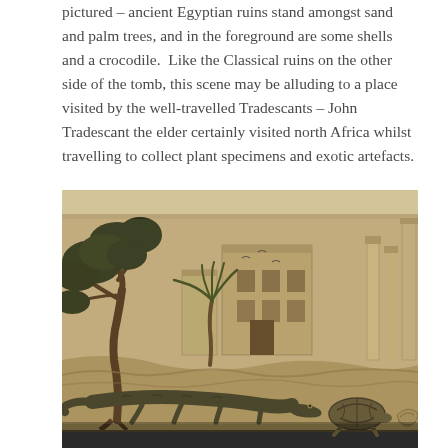pictured – ancient Egyptian ruins stand amongst sand and palm trees, and in the foreground are some shells and a crocodile.  Like the Classical ruins on the other side of the tomb, this scene may be alluding to a place visited by the well-travelled Tradescants – John Tradescant the elder certainly visited north Africa whilst travelling to collect plant specimens and exotic artefacts.
[Figure (photo): Photograph of a stone tomb relief carving showing an Egyptian scene with a palm tree, ruins/buildings in the background, a crocodile in the foreground, and shells or a tortoise. The carving is in beige/sandy limestone with dark mineral staining.]